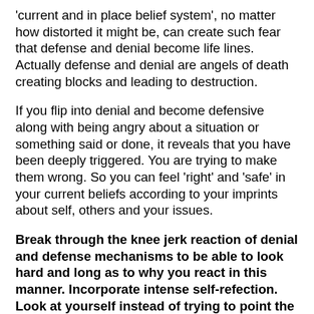'current and in place belief system', no matter how distorted it might be, can create such fear that defense and denial become life lines. Actually defense and denial are angels of death creating blocks and leading to destruction.
If you flip into denial and become defensive along with being angry about a situation or something said or done, it reveals that you have been deeply triggered. You are trying to make them wrong. So you can feel 'right' and 'safe' in your current beliefs according to your imprints about self, others and your issues.
Break through the knee jerk reaction of denial and defense mechanisms to be able to look hard and long as to why you react in this manner. Incorporate intense self-refection. Look at yourself instead of trying to point the finger outside self or at another. Pointing the finger outside yourself and at another is deflecting and projecting – a sure sign that someone or some situation has hit upon your vulnerabilities